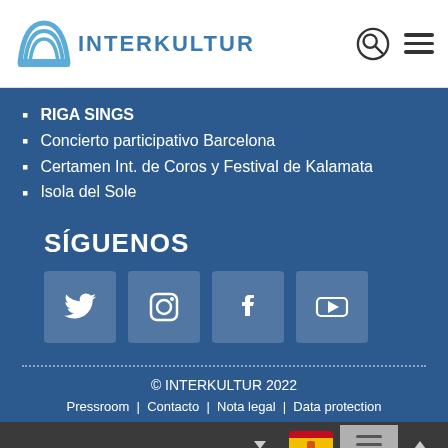[Figure (logo): INTERKULTUR logo with blue arc/rainbow graphic above the text INTERKULTUR]
RIGA SINGS
Concierto participativo Barcelona
Certamen Int. de Coros y Festival de Kalamata
Isola del Sole
SÍGUENOS
[Figure (illustration): Four social media icon buttons: Twitter, Instagram, Facebook, YouTube]
© INTERKULTUR 2022
Pressroom | Contacto | Nota legal | Data protection